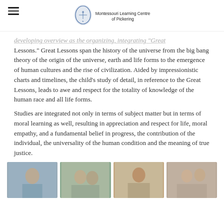Montessouri Learning Centre of Pickering
…developing overview as the organizing, integrating "Great Lessons." Great Lessons span the history of the universe from the big bang theory of the origin of the universe, earth and life forms to the emergence of human cultures and the rise of civilization. Aided by impressionistic charts and timelines, the child's study of detail, in reference to the Great Lessons, leads to awe and respect for the totality of knowledge of the human race and all life forms.
Studies are integrated not only in terms of subject matter but in terms of moral learning as well, resulting in appreciation and respect for life, moral empathy, and a fundamental belief in progress, the contribution of the individual, the universality of the human condition and the meaning of true justice.
[Figure (photo): Four classroom photos of students engaged in Montessori learning activities]
[Figure (logo): Montessouri Learning Centre of Pickering circular shield logo]